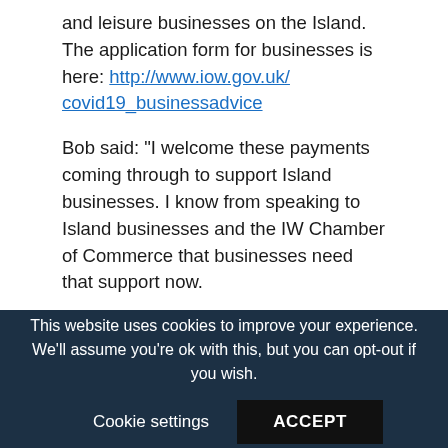and leisure businesses on the Island. The application form for businesses is here: http://www.iow.gov.uk/covid19_businessadvice
Bob said: “I welcome these payments coming through to support Island businesses. I know from speaking to Island businesses and the IW Chamber of Commerce that businesses need that support now.
“It is important these payments are expedited to keep Island businesses alive and people employed.
“I know the IW Council is working hard to ensure these payments get to where they are needed as quickly as possible. I thank them for the important work they are
This website uses cookies to improve your experience. We’ll assume you’re ok with this, but you can opt-out if you wish.